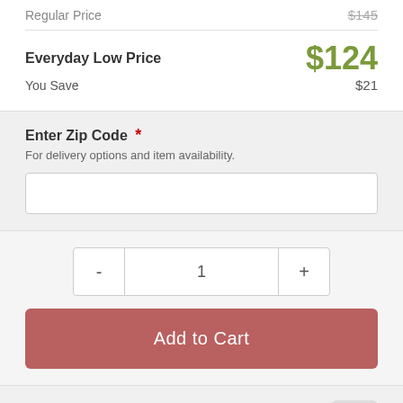Regular Price  $145
Everyday Low Price  $124
You Save  $21
Enter Zip Code *
For delivery options and item availability.
1 (quantity selector with - and + buttons)
Add to Cart
Share This Item
[Figure (infographic): Social share icons: Email, Twitter, Facebook, Pinterest, More]